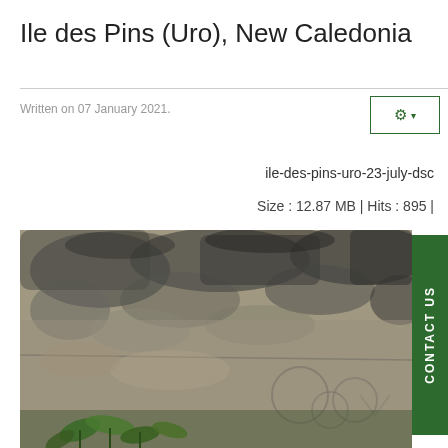Ile des Pins (Uro), New Caledonia
Written on 07 January 2021.
ile-des-pins-uro-23-july-dsc
Size : 12.87 MB | Hits : 895 |
[Figure (photo): Close-up photograph of a weathered stone or rock surface with grey and dark mottled texture, showing carved or engraved markings and some green plant foliage at the bottom.]